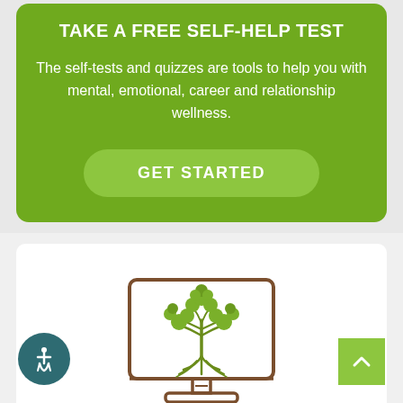TAKE A FREE SELF-HELP TEST
The self-tests and quizzes are tools to help you with mental, emotional, career and relationship wellness.
GET STARTED
[Figure (logo): Computer monitor icon with a tree logo inside, displayed on a white card background]
BOOK AN APPOINTMENT